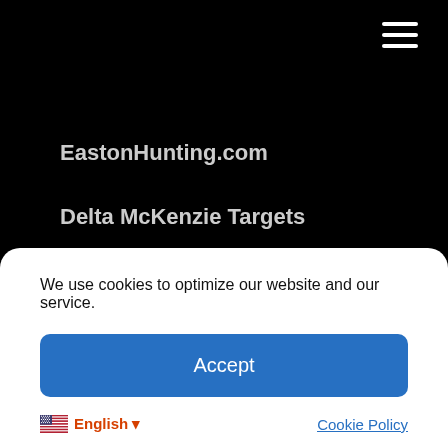Navigation menu hamburger icon
EastonHunting.com
Delta McKenzie Targets
ASA 3D Target Scoring Rings
SAFETY
Company
Rebates
We use cookies to optimize our website and our service.
Accept
🇺🇸 English ▼
Cookie Policy